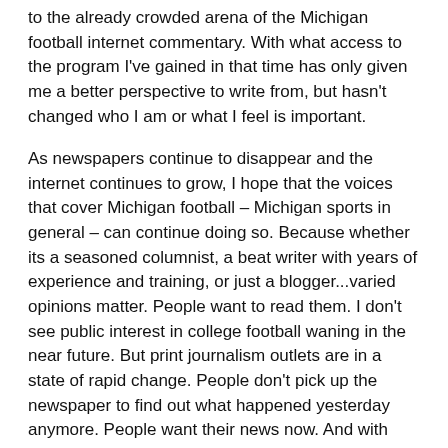to the already crowded arena of the Michigan football internet commentary. With what access to the program I've gained in that time has only given me a better perspective to write from, but hasn't changed who I am or what I feel is important.
As newspapers continue to disappear and the internet continues to grow, I hope that the voices that cover Michigan football – Michigan sports in general – can continue doing so. Because whether its a seasoned columnist, a beat writer with years of experience and training, or just a blogger...varied opinions matter. People want to read them. I don't see public interest in college football waning in the near future. But print journalism outlets are in a state of rapid change. People don't pick up the newspaper to find out what happened yesterday anymore. People want their news now. And with sports reporting, it's no different.
Show me a sportswriter who's not on Twitter and I'll show you someone who's not going to be a sportswriter much longer.